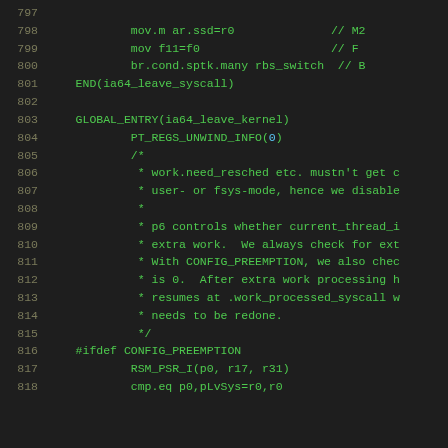[Figure (screenshot): Assembly/kernel source code snippet with line numbers 797-818, shown in a dark IDE theme with green monospace font. Lines include mov instructions, branch conditions, END macro, GLOBAL_ENTRY macro, PT_REGS_UNWIND_INFO, block comment, #ifdef preprocessor directive, and register manipulation instructions.]